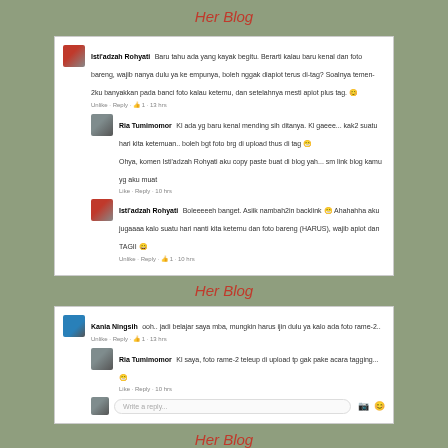Her Blog
[Figure (screenshot): Facebook comment thread screenshot showing Isti'adzah Rohyati and Ria Tumimomor exchanging comments about tagging in photos and blog backlinks]
Her Blog
[Figure (screenshot): Facebook comment thread screenshot showing Kania Ningsih and Ria Tumimomor exchanging comments about group photo uploads and tagging]
Her Blog